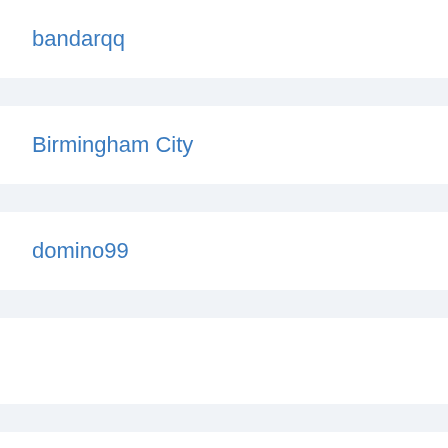bandarqq
Birmingham City
domino99
Personal Injury Solicitors